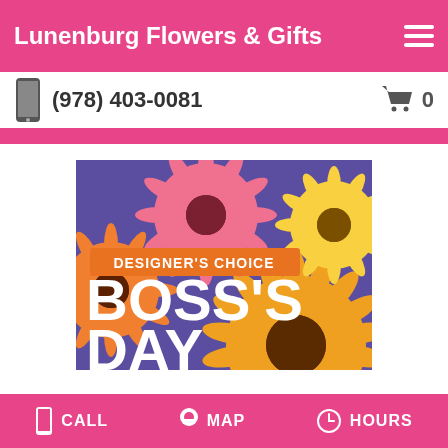Lunenburg Flowers & Gifts
(978) 403-0081
[Figure (photo): Boss's Day Designer's Choice flower arrangement with gerbera daisies in orange, pink, and yellow on a purple background. Text overlay: 'DESIGNER'S CHOICE' on an orange banner, and 'BOSS'S DAY' in large white bold text.]
CALL   MAP   HOURS